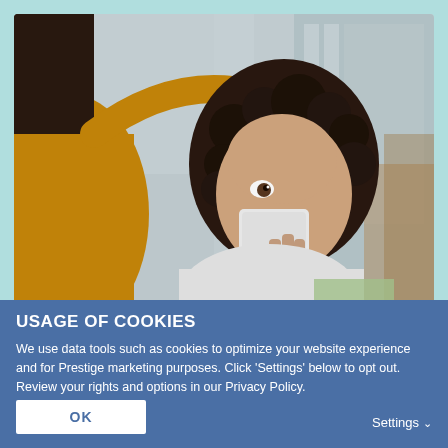[Figure (photo): A mother or caregiver in an orange/mustard knit sweater tending to a young child with dark curly hair who is blowing their nose into a white tissue. Indoor domestic setting with blurred background showing white shelving and wooden furniture.]
USAGE OF COOKIES
We use data tools such as cookies to optimize your website experience and for Prestige marketing purposes. Click 'Settings' below to opt out. Review your rights and options in our Privacy Policy.
OK
Settings